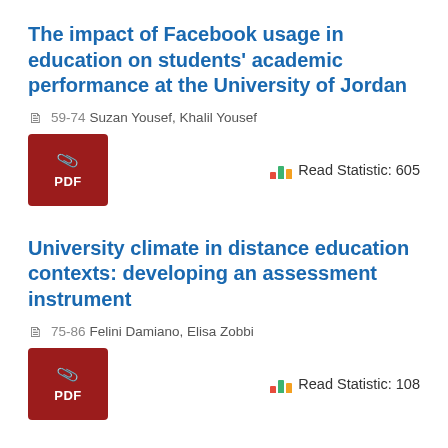The impact of Facebook usage in education on students' academic performance at the University of Jordan
59-74 Suzan Yousef, Khalil Yousef
Read Statistic: 605
University climate in distance education contexts: developing an assessment instrument
75-86 Felini Damiano, Elisa Zobbi
Read Statistic: 108
Full enforcement of e-Learning during